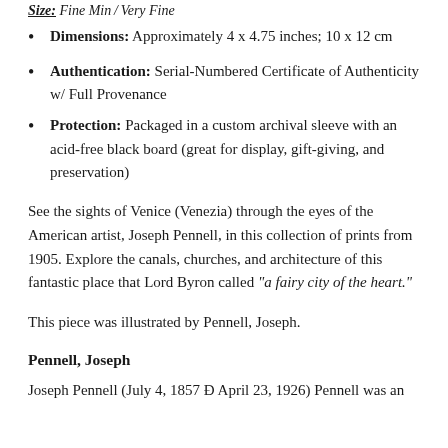Dimensions: Approximately 4 x 4.75 inches; 10 x 12 cm
Authentication: Serial-Numbered Certificate of Authenticity w/ Full Provenance
Protection: Packaged in a custom archival sleeve with an acid-free black board (great for display, gift-giving, and preservation)
See the sights of Venice (Venezia) through the eyes of the American artist, Joseph Pennell, in this collection of prints from 1905. Explore the canals, churches, and architecture of this fantastic place that Lord Byron called "a fairy city of the heart."
This piece was illustrated by Pennell, Joseph.
Pennell, Joseph
Joseph Pennell (July 4, 1857 Ð April 23, 1926) Pennell was an